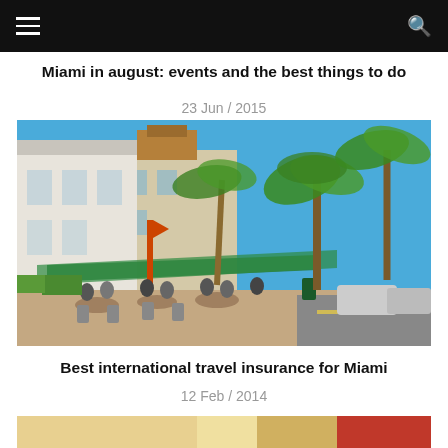Miami in august: events and the best things to do
23 Jun / 2015
[Figure (photo): Outdoor street scene in Miami with palm trees, people dining at outdoor cafe tables, white building with arches, green umbrellas, and blue sky]
Best international travel insurance for Miami
12 Feb / 2014
[Figure (photo): Partially visible image strip at bottom of page]